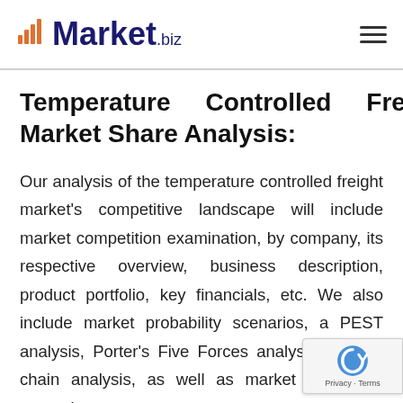Market.biz
Temperature Controlled Freight Market Share Analysis:
Our analysis of the temperature controlled freight market's competitive landscape will include market competition examination, by company, its respective overview, business description, product portfolio, key financials, etc. We also include market probability scenarios, a PEST analysis, Porter's Five Forces analysis, supply-chain analysis, as well as market expansion strategies.